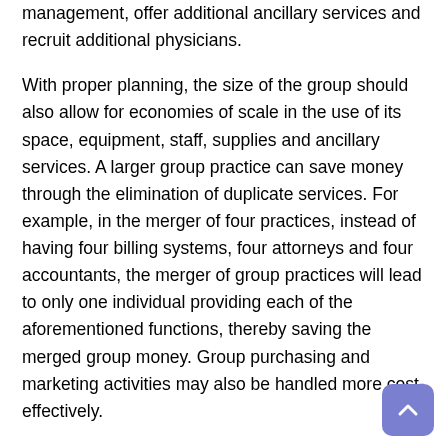management, offer additional ancillary services and recruit additional physicians.
With proper planning, the size of the group should also allow for economies of scale in the use of its space, equipment, staff, supplies and ancillary services. A larger group practice can save money through the elimination of duplicate services. For example, in the merger of four practices, instead of having four billing systems, four attorneys and four accountants, the merger of group practices will lead to only one individual providing each of the aforementioned functions, thereby saving the merged group money. Group purchasing and marketing activities may also be handled more cost-effectively.
A large group practice should be able to tap its resources to obtain the computers needed to access information that is increasingly important to managed care entities. As information related to patient satisfaction, peer review, quality assurance and utilization management become increasingly important, those practices who have this data available will have a better chance to succeed. This will also make the merged group more attractive to such payors, possibly